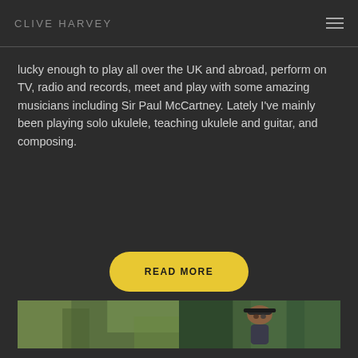CLIVE HARVEY
lucky enough to play all over the UK and abroad, perform on TV, radio and records, meet and play with some amazing musicians including Sir Paul McCartney. Lately I've mainly been playing solo ukulele, teaching ukulele and guitar, and composing.
READ MORE
[Figure (photo): Outdoor photograph split into two panels showing a person wearing a dark cap and glasses, surrounded by green foliage/trees in a natural setting.]